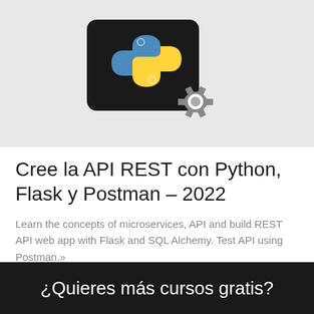[Figure (screenshot): Python logo with gear icon on dark/light gray background — course thumbnail image]
Cree la API REST con Python, Flask y Postman – 2022
Learn the concepts of microservices, API and build REST API web app with Flask and SQL Alchemy. Test API using Postman.»
Este curso es GRATIS
¿Quieres más cursos gratis?